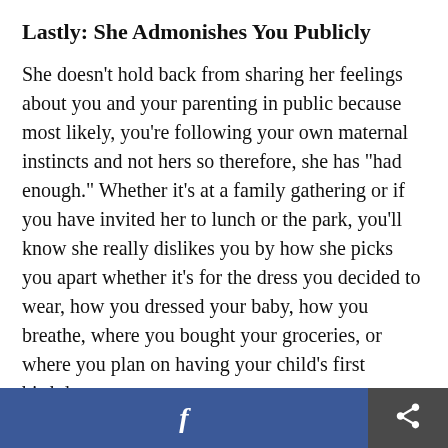Lastly: She Admonishes You Publicly
She doesn't hold back from sharing her feelings about you and your parenting in public because most likely, you're following your own maternal instincts and not hers so therefore, she has "had enough." Whether it's at a family gathering or if you have invited her to lunch or the park, you'll know she really dislikes you by how she picks you apart whether it's for the dress you decided to wear, how you dressed your baby, how you breathe, where you bought your groceries, or where you plan on having your child's first birthday party.